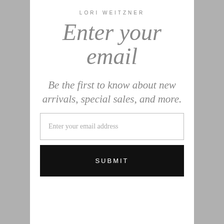LORI WEITZNER
Enter your email
Be the first to know about new arrivals, special sales, and more.
Enter your email address
SUBMIT